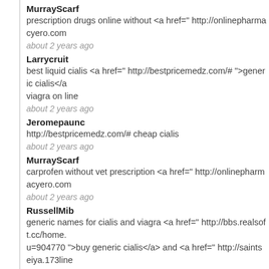MurrayScarf
prescription drugs online without <a href=" http://onlinepharmacyero.com
about 2 years ago
Larrycruit
best liquid cialis <a href=" http://bestpricemedz.com/# ">generic cialis</a viagra on line
about 2 years ago
Jeromepaunc
http://bestpricemedz.com/# cheap cialis
about 2 years ago
MurrayScarf
carprofen without vet prescription <a href=" http://onlinepharmacyero.com
about 2 years ago
RussellMib
generic names for cialis and viagra <a href=" http://bbs.realsoft.cc/home. u=904770 ">buy generic cialis</a> and <a href=" http://saintseiya.173line ">cheap cialis</a> and <a href=" http://bbs.ebnew.com/home.php?mod= without doctor prescription</a> http://sq.xbskp.com/home.php?mod=spa
about 2 years ago
MurrayScarf
prescription drugs online without doctor <a href=" https://www.racebikemulfmotwy buy prescription drugs
about 2 years ago